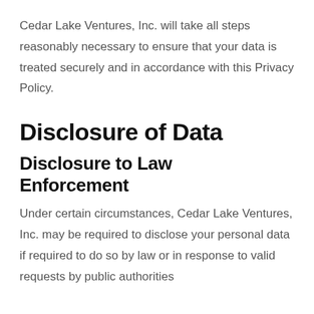Cedar Lake Ventures, Inc. will take all steps reasonably necessary to ensure that your data is treated securely and in accordance with this Privacy Policy.
Disclosure of Data
Disclosure to Law Enforcement
Under certain circumstances, Cedar Lake Ventures, Inc. may be required to disclose your personal data if required to do so by law or in response to valid requests by public authorities